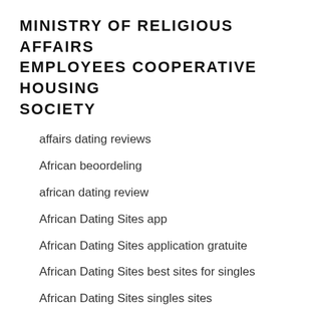MINISTRY OF RELIGIOUS AFFAIRS EMPLOYEES COOPERATIVE HOUSING SOCIETY
affairs dating reviews
African beoordeling
african dating review
African Dating Sites app
African Dating Sites application gratuite
African Dating Sites best sites for singles
African Dating Sites singles sites
africke-seznamky sites
afrointroductions Iscriviti
Afrointroductions les hook up